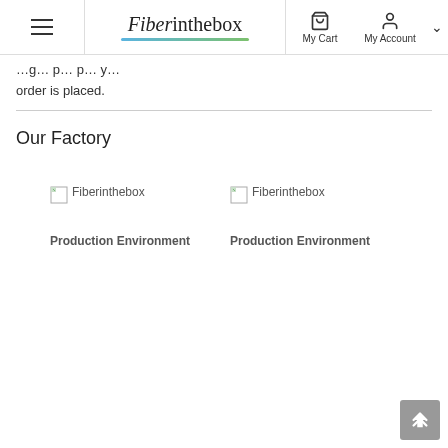Fiberinthebox - My Cart - My Account
order is placed.
Our Factory
[Figure (photo): Fiberinthebox Production Environment - broken image placeholder with text 'Fiberinthebox Production Environment']
[Figure (photo): Fiberinthebox Production Environment - broken image placeholder with text 'Fiberinthebox Production Environment']